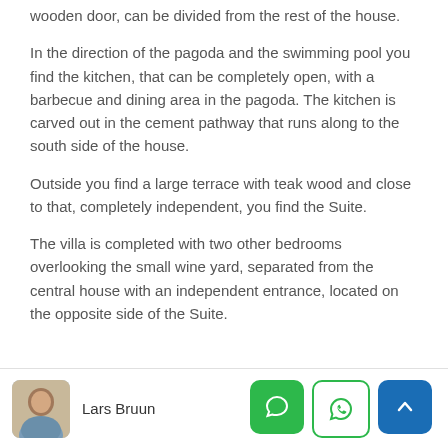wooden door, can be divided from the rest of the house.
In the direction of the pagoda and the swimming pool you find the kitchen, that can be completely open, with a barbecue and dining area in the pagoda. The kitchen is carved out in the cement pathway that runs along to the south side of the house.
Outside you find a large terrace with teak wood and close to that, completely independent, you find the Suite.
The villa is completed with two other bedrooms overlooking the small wine yard, separated from the central house with an independent entrance, located on the opposite side of the Suite.
Lars Bruun